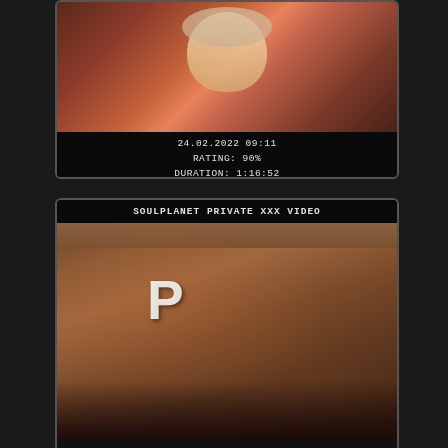[Figure (photo): Video thumbnail showing a person with blonde hair in a decorated room with posters]
24.02.2022 09:11
RATING: 90%
DURATION: 1:16:52
SOULPLANET PRIVATE XXX VIDEO
[Figure (photo): Video thumbnail showing interior room with wooden ceiling, letter P decoration, posters and dark ambiance]